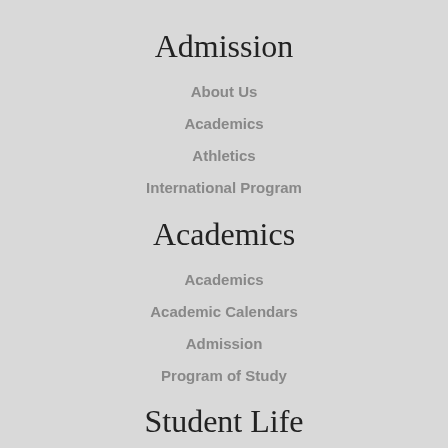Admission
About Us
Academics
Athletics
International Program
Academics
Academics
Academic Calendars
Admission
Program of Study
Student Life
About Us